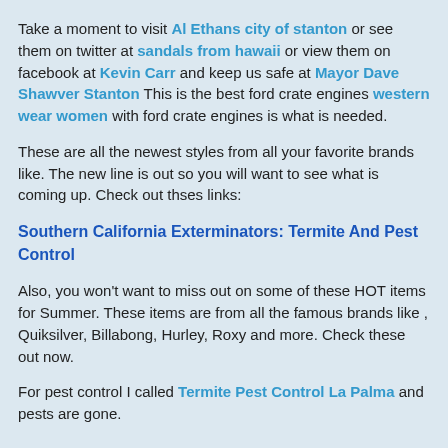Take a moment to visit Al Ethans city of stanton or see them on twitter at sandals from hawaii or view them on facebook at Kevin Carr and keep us safe at Mayor Dave Shawver Stanton This is the best ford crate engines western wear women with ford crate engines is what is needed.
These are all the newest styles from all your favorite brands like. The new line is out so you will want to see what is coming up. Check out thses links:
Southern California Exterminators: Termite And Pest Control
Also, you won't want to miss out on some of these HOT items for Summer. These items are from all the famous brands like , Quiksilver, Billabong, Hurley, Roxy and more. Check these out now.
For pest control I called Termite Pest Control La Palma and pests are gone.